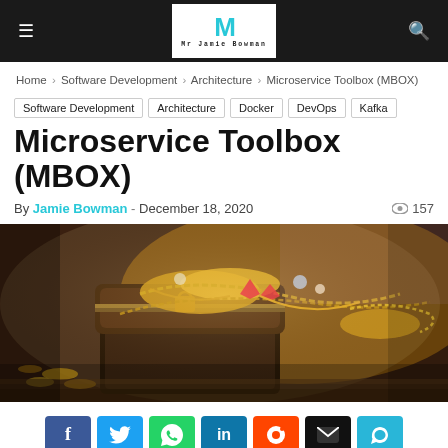Mr Jamie Bowman — site header with navigation
Home › Software Development › Architecture › Microservice Toolbox (MBOX)
Software Development
Architecture
Docker
DevOps
Kafka
Microservice Toolbox (MBOX)
By Jamie Bowman - December 18, 2020  157
[Figure (photo): Decorative hero image of a treasure chest overflowing with gold jewelry and gems on a wooden surface]
[Figure (infographic): Social sharing buttons: Facebook, Twitter, WhatsApp, LinkedIn, Reddit, Email, Telegram]